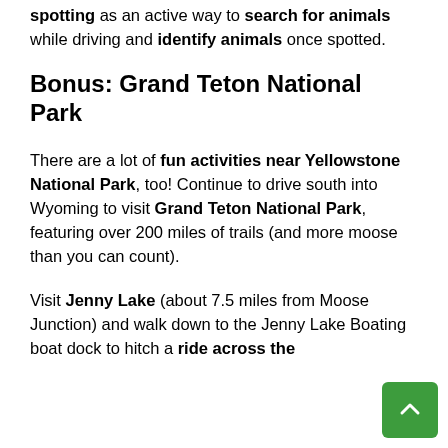spotting as an active way to search for animals while driving and identify animals once spotted.
Bonus: Grand Teton National Park
There are a lot of fun activities near Yellowstone National Park, too! Continue to drive south into Wyoming to visit Grand Teton National Park, featuring over 200 miles of trails (and more moose than you can count).
Visit Jenny Lake (about 7.5 miles from Moose Junction) and walk down to the Jenny Lake Boating boat dock to hitch a ride across the